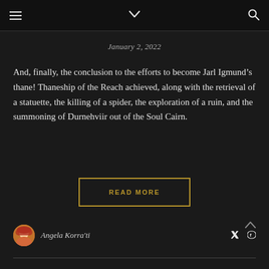Navigation bar with menu, chevron, and search icons
January 2, 2022
And, finally, the conclusion to the efforts to become Jarl Igmund’s thane! Thaneship of the Reach achieved, along with the retrieval of a statuette, the killing of a spider, the exploration of a ruin, and the summoning of Durnehviir out of the Soul Cairn.
READ MORE
Angela Korra’ti